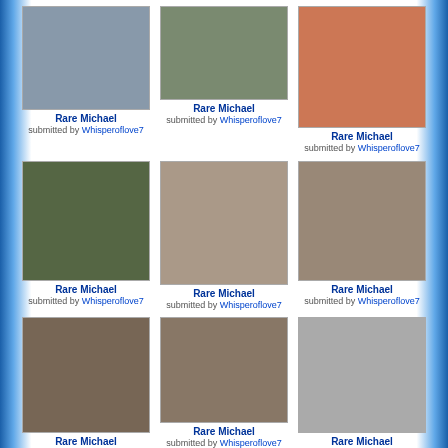[Figure (photo): Group photo of young men, vintage color photo]
Rare Michael
submitted by Whisperoflove7
[Figure (photo): Person waving from car window wearing hat and mask, color photo]
Rare Michael
submitted by Whisperoflove7
[Figure (photo): Person in orange/red jacket in crowd, color photo]
Rare Michael
submitted by Whisperoflove7
[Figure (photo): Person in blue suit on stairs outdoors, color photo]
Rare Michael
submitted by Whisperoflove7
[Figure (photo): Large group/family photo indoors, color photo]
Rare Michael
submitted by Whisperoflove7
[Figure (photo): Person walking through brick archway corridor, color photo]
Rare Michael
submitted by Whisperoflove7
[Figure (photo): Group of people in hallway interior, color photo]
Rare Michael
submitted by Whisperoflove7
[Figure (photo): Two people interacting at event, color photo]
Rare Michael
submitted by Whisperoflove7
[Figure (photo): Two people together, black and white photo]
Rare Michael